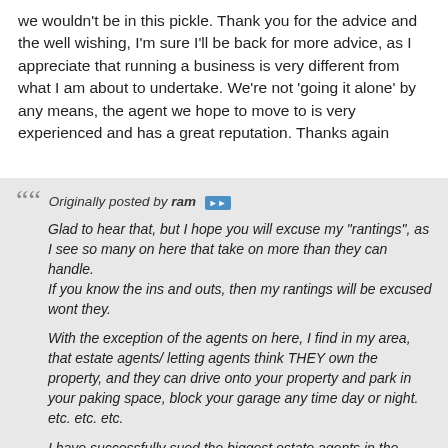we wouldn't be in this pickle. Thank you for the advice and the well wishing, I'm sure I'll be back for more advice, as I appreciate that running a business is very different from what I am about to undertake. We're not 'going it alone' by any means, the agent we hope to move to is very experienced and has a great reputation. Thanks again
Originally posted by ram [>>] Glad to hear that, but I hope you will excuse my "rantings", as I see so many on here that take on more than they can handle. If you know the ins and outs, then my rantings will be excused wont they.

With the exception of the agents on here, I find in my area, that estate agents/ letting agents think THEY own the property, and they can drive onto your property and park in your paking space, block your garage any time day or night. etc. etc. etc.

I have successfully sued the biggest estate agents in the country, and have 3 more claims to make on the same one, as i do not accept "in full and final settlement, for this and any future claims" from anyone, so we can sue them again !